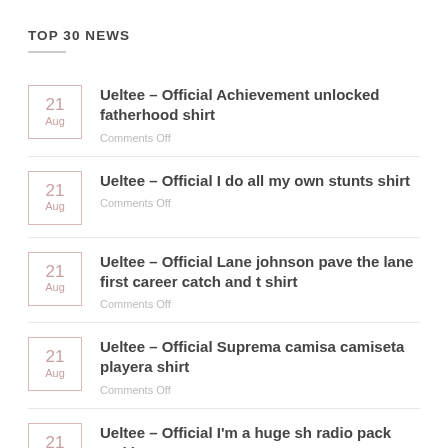TOP 30 NEWS
Ueltee – Official Achievement unlocked fatherhood shirt
Comments Off
Ueltee – Official I do all my own stunts shirt
Comments Off
Ueltee – Official Lane johnson pave the lane first career catch and t shirt
Comments Off
Ueltee – Official Suprema camisa camiseta playera shirt
Comments Off
Ueltee – Official I'm a huge sh radio pack and i won't